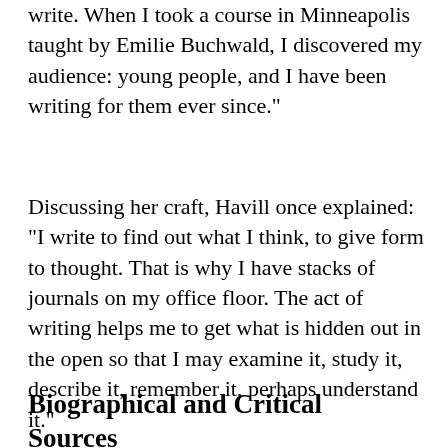write. When I took a course in Minneapolis taught by Emilie Buchwald, I discovered my audience: young people, and I have been writing for them ever since."
Discussing her craft, Havill once explained: "I write to find out what I think, to give form to thought. That is why I have stacks of journals on my office floor. The act of writing helps me to get what is hidden out in the open so that I may examine it, study it, describe it, remember it, perhaps understand it."
Biographical and Critical Sources